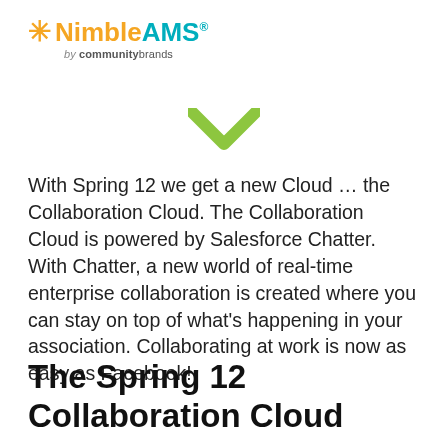[Figure (logo): NimbleAMS logo with orange asterisk and 'Nimble' in orange, 'AMS' in teal with registered trademark, and 'by communitybrands' subtitle]
[Figure (illustration): Green downward-pointing chevron/arrow shape centered on page]
With Spring 12 we get a new Cloud … the Collaboration Cloud.  The Collaboration Cloud is powered by Salesforce Chatter.  With Chatter, a new world of real-time enterprise collaboration is created where you can stay on top of what's happening in your association.  Collaborating at work is now as easy as Facebook!
The Spring 12 Collaboration Cloud